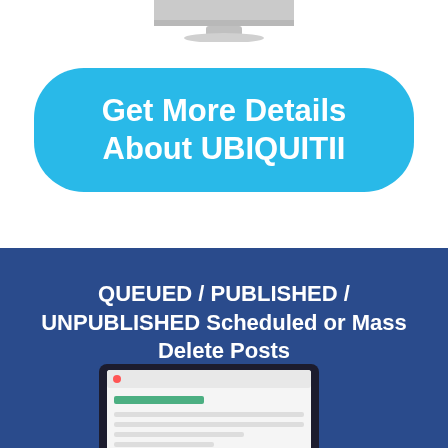[Figure (illustration): Top portion of a computer monitor (stand and base visible at top of page)]
Get More Details About UBIQUITII
QUEUED / PUBLISHED / UNPUBLISHED Scheduled or Mass Delete Posts
[Figure (screenshot): Partial view of a tablet/laptop device showing a software dashboard interface]